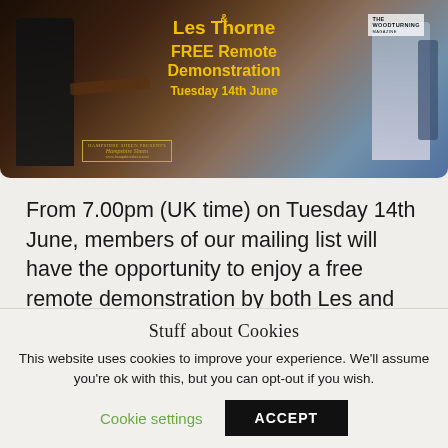[Figure (photo): Photo of two people (woodturners) in a workshop setting with machinery. Text overlay reads '& Les Thorne FREE Remote Demonstration Tuesday 14th June' in yellow on dark background. Hampshire Sheen logo visible. The Woodturning magazine logo visible.]
From 7.00pm (UK time) on Tuesday 14th June, members of our mailing list will have the opportunity to enjoy a free remote demonstration by both Les and Martin.
Stuff about Cookies
This website uses cookies to improve your experience. We'll assume you're ok with this, but you can opt-out if you wish.
Cookie settings   ACCEPT